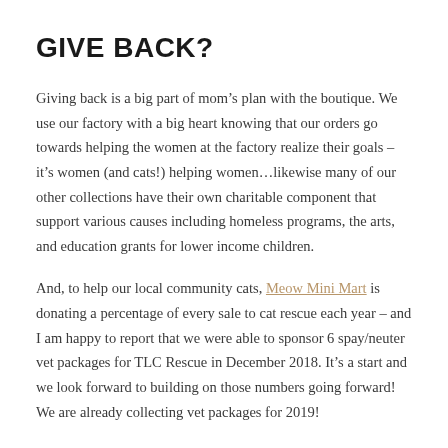GIVE BACK?
Giving back is a big part of mom’s plan with the boutique. We use our factory with a big heart knowing that our orders go towards helping the women at the factory realize their goals – it’s women (and cats!) helping women…likewise many of our other collections have their own charitable component that support various causes including homeless programs, the arts, and education grants for lower income children.
And, to help our local community cats, Meow Mini Mart is donating a percentage of every sale to cat rescue each year – and I am happy to report that we were able to sponsor 6 spay/neuter vet packages for TLC Rescue in December 2018. It’s a start and we look forward to building on those numbers going forward! We are already collecting vet packages for 2019!